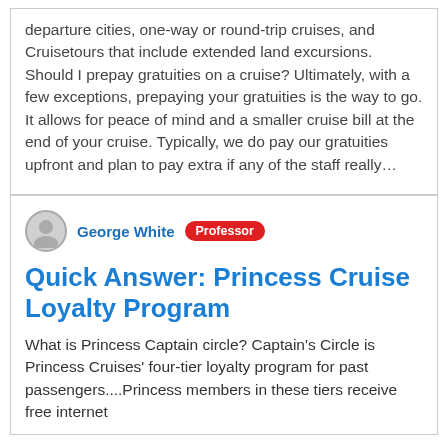departure cities, one-way or round-trip cruises, and Cruisetours that include extended land excursions. Should I prepay gratuities on a cruise? Ultimately, with a few exceptions, prepaying your gratuities is the way to go. It allows for peace of mind and a smaller cruise bill at the end of your cruise. Typically, we do pay our gratuities upfront and plan to pay extra if any of the staff really…
George White  Professor
Quick Answer: Princess Cruise Loyalty Program
What is Princess Captain circle? Captain's Circle is Princess Cruises' four-tier loyalty program for past passengers....Princess members in these tiers receive free internet